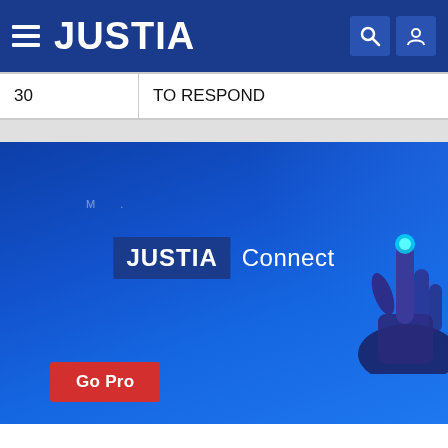JUSTIA
| 30 | TO RESPOND |
[Figure (screenshot): Justia Connect promotional banner with blue background, showing JUSTIA Connect logo text, a hand graphic, and a red 'Go Pro' button]